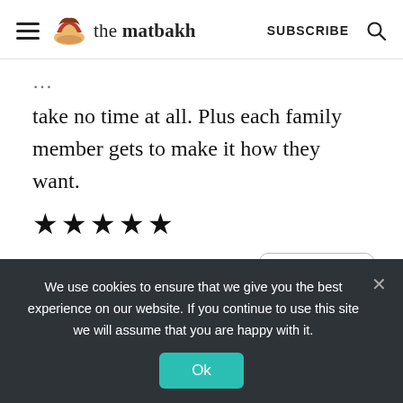the matbakh | SUBSCRIBE
take no time at all. Plus each family member gets to make it how they want.
★★★★★
REPLY
We use cookies to ensure that we give you the best experience on our website. If you continue to use this site we will assume that you are happy with it.
Ok